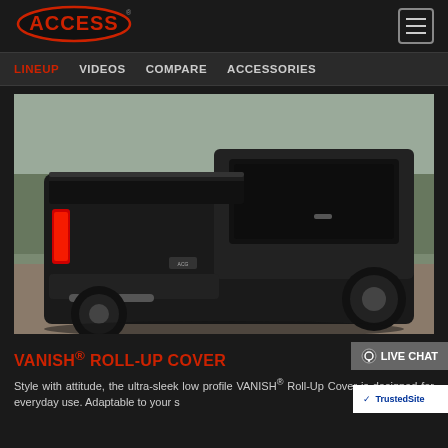[Figure (logo): ACCESS brand logo in red on dark background]
LINEUP  VIDEOS  COMPARE  ACCESSORIES
[Figure (photo): Black truck with ACCESS VANISH Roll-Up Cover in outdoor setting with bare trees in background]
VANISH® ROLL-UP COVER
Style with attitude, the ultra-sleek low profile VANISH® Roll-Up Cover is designed for everyday use. Adaptable to your s...